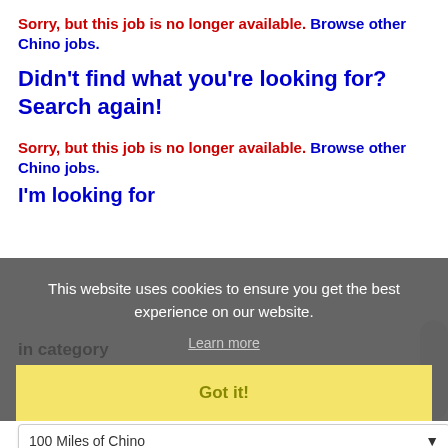Sorry, but this job is no longer available. Browse other Chino jobs.
Didn't find what you're looking for? Search again!
Sorry, but this job is no longer available. Browse other Chino jobs.
I'm looking for
This website uses cookies to ensure you get the best experience on our website.
Learn more
Got it!
in category
ALL
within
100 Miles of Chino